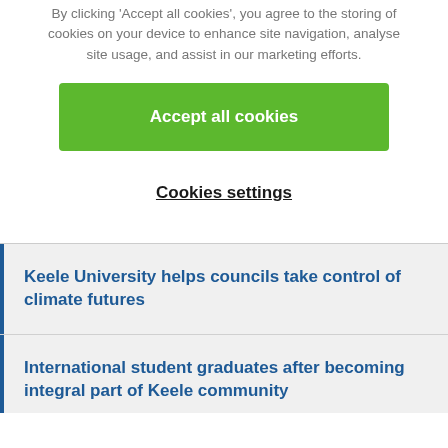By clicking 'Accept all cookies', you agree to the storing of cookies on your device to enhance site navigation, analyse site usage, and assist in our marketing efforts.
[Figure (other): Green 'Accept all cookies' button]
Cookies settings
Keele University helps councils take control of climate futures
International student graduates after becoming integral part of Keele community